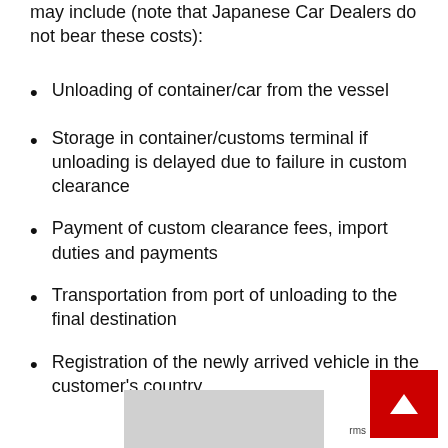may include (note that Japanese Car Dealers do not bear these costs):
Unloading of container/car from the vessel
Storage in container/customs terminal if unloading is delayed due to failure in custom clearance
Payment of custom clearance fees, import duties and payments
Transportation from port of unloading to the final destination
Registration of the newly arrived vehicle in the customer's country